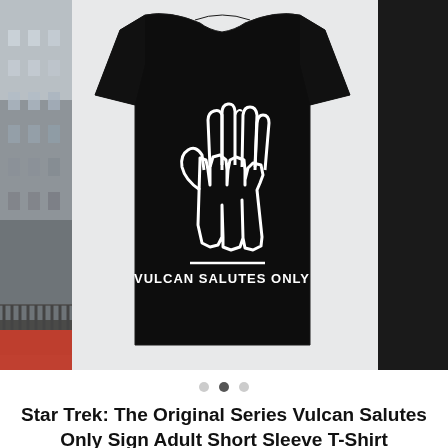[Figure (photo): Product image carousel showing a black t-shirt with 'VULCAN SALUTES ONLY' text and Vulcan hand salute graphic in white outline. Left side shows partial building exterior photo. Right side shows a dark/black strip. Three carousel indicator dots below (second dot active/filled).]
Star Trek: The Original Series Vulcan Salutes Only Sign Adult Short Sleeve T-Shirt